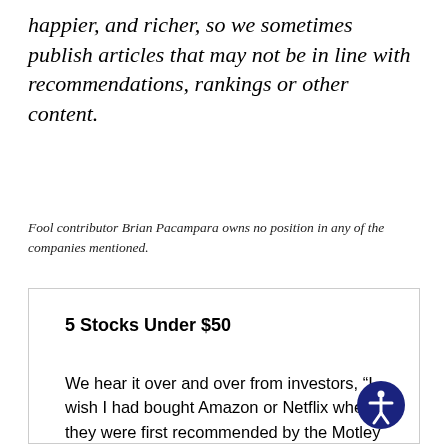happier, and richer, so we sometimes publish articles that may not be in line with recommendations, rankings or other content.
Fool contributor Brian Pacampara owns no position in any of the companies mentioned.
5 Stocks Under $50
We hear it over and over from investors, “I wish I had bought Amazon or Netflix when they were first recommended by the Motley Fool. I’d be sitting on a gold mine!” And it’s true.